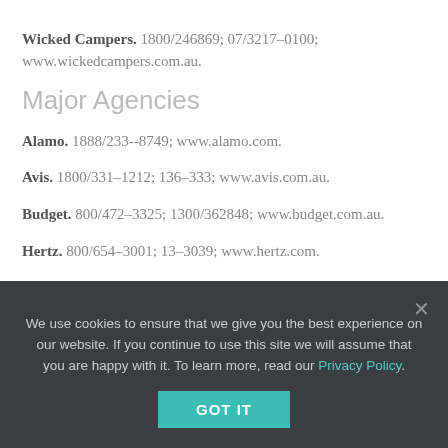Wicked Campers. 1800/246869; 07/3217–0100; www.wickedcampers.com.au.
Major Agencies
Alamo. 1888/233--8749; www.alamo.com.
Avis. 1800/331–1212; 136–333; www.avis.com.au.
Budget. 800/472–3325; 1300/362848; www.budget.com.au.
Hertz. 800/654–3001; 13–3039; www.hertz.com.
National Car Rental. 877/222–9058; www.nationalcar.com.
Thrifty. 800/847–4389; 1300/367227; www.thrifty.com.au.
Road Conditions
We use cookies to ensure that we give you the best experience on our website. If you continue to use this site we will assume that you are happy with it. To learn more, read our Privacy Policy.